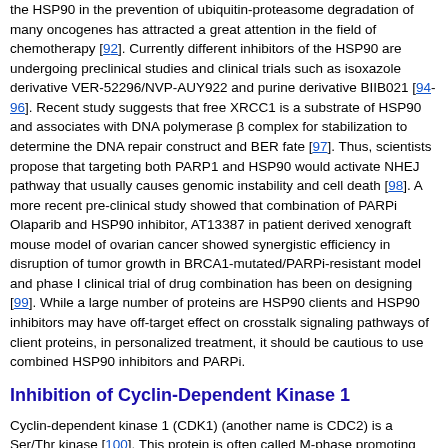the HSP90 in the prevention of ubiquitin-proteasome degradation of many oncogenes has attracted a great attention in the field of chemotherapy [92]. Currently different inhibitors of the HSP90 are undergoing preclinical studies and clinical trials such as isoxazole derivative VER-52296/NVP-AUY922 and purine derivative BIIB021 [94-96]. Recent study suggests that free XRCC1 is a substrate of HSP90 and associates with DNA polymerase β complex for stabilization to determine the DNA repair construct and BER fate [97]. Thus, scientists propose that targeting both PARP1 and HSP90 would activate NHEJ pathway that usually causes genomic instability and cell death [98]. A more recent pre-clinical study showed that combination of PARPi Olaparib and HSP90 inhibitor, AT13387 in patient derived xenograft mouse model of ovarian cancer showed synergistic efficiency in disruption of tumor growth in BRCA1-mutated/PARPi-resistant model and phase I clinical trial of drug combination has been on designing [99]. While a large number of proteins are HSP90 clients and HSP90 inhibitors may have off-target effect on crosstalk signaling pathways of client proteins, in personalized treatment, it should be cautious to use combined HSP90 inhibitors and PARPi.
Inhibition of Cyclin-Dependent Kinase 1
Cyclin-dependent kinase 1 (CDK1) (another name is CDC2) is a Ser/Thr kinase [100]. This protein is often called M-phase promoting factor (MPF) and functions in G1/S and G2/M phases of cell cycle [100]. To review, cells can progress through the phases of cell cycle due to periodic production and degradation of cyclins, which function as partners of CDK1 [100]. For example, production and maintenance of cyclin A2 is critical to prevent the re-replication of DNA in S phase [101]. One main function of CDK1 is to participate in HR repair pathway [102]. Specifically, this kinase phosphorylates BRCA1 to promote the proper formation of DNA repair foci